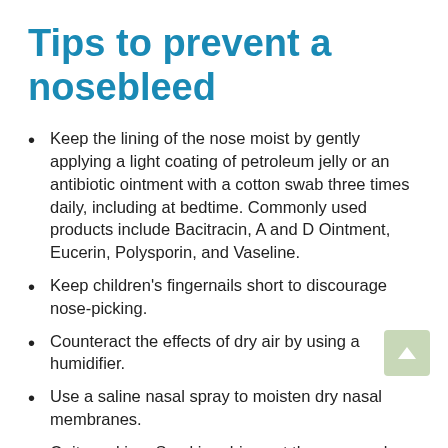Tips to prevent a nosebleed
Keep the lining of the nose moist by gently applying a light coating of petroleum jelly or an antibiotic ointment with a cotton swab three times daily, including at bedtime. Commonly used products include Bacitracin, A and D Ointment, Eucerin, Polysporin, and Vaseline.
Keep children's fingernails short to discourage nose-picking.
Counteract the effects of dry air by using a humidifier.
Use a saline nasal spray to moisten dry nasal membranes.
Quit smoking. Smoking dries out the nose and irritates